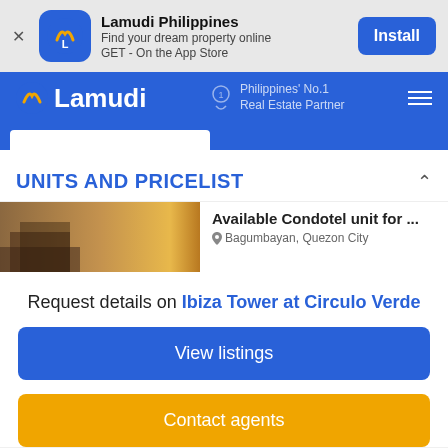[Figure (screenshot): Lamudi Philippines app install banner with icon, tagline, and Install button]
[Figure (screenshot): Lamudi navigation bar with logo, Philippines No.1 Real Estate Partner tagline, and hamburger menu]
UNITS AND PRICELIST
[Figure (photo): Thumbnail of condotel interior with warm lighting]
Available Condotel unit for ...
Bagumbayan, Quezon City
Request details on Ibiza Tower at Circulo Verde
View listings
Contact agents